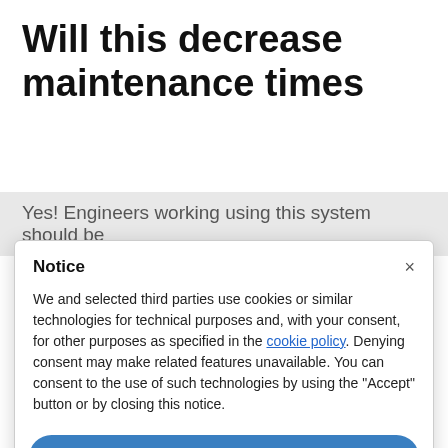Will this decrease maintenance times
Yes! Engineers working using this system should be
Notice
We and selected third parties use cookies or similar technologies for technical purposes and, with your consent, for other purposes as specified in the cookie policy. Denying consent may make related features unavailable. You can consent to the use of such technologies by using the “Accept” button or by closing this notice.
Accept
Learn more and customise